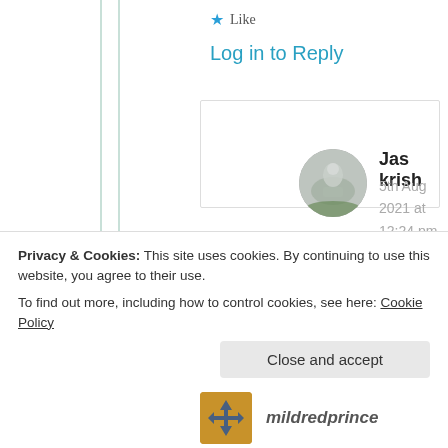★ Like
Log in to Reply
Jas krish
5th Aug 2021 at 12:24 pm
[Figure (illustration): Circular avatar photo showing a Buddha statue in foggy/misty conditions]
🙏 🌹 🙏
Privacy & Cookies: This site uses cookies. By continuing to use this website, you agree to their use.
To find out more, including how to control cookies, see here: Cookie Policy
Close and accept
mildredprince